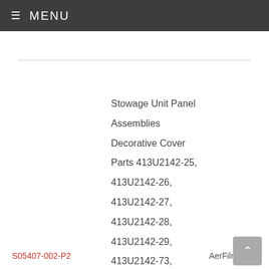≡ MENU
Stowage Unit Panel Assemblies Decorative Cover Parts 413U2142-25, 413U2142-26, 413U2142-27, 413U2142-28, 413U2142-29, 413U2142-73, 413U2142-74, 413U2237-32, 413U2237-34,
S05407-002-P2   AerFilm LHR